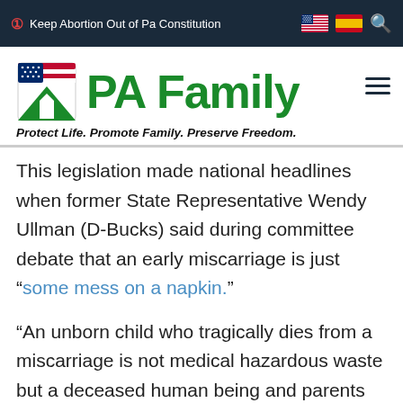Keep Abortion Out of Pa Constitution
[Figure (logo): PA Family logo with American flag motif icon and green bold text 'PA Family'. Tagline: Protect Life. Promote Family. Preserve Freedom.]
This legislation made national headlines when former State Representative Wendy Ullman (D-Bucks) said during committee debate that an early miscarriage is just “some mess on a napkin.”
“An unborn child who tragically dies from a miscarriage is not medical hazardous waste but a deceased human being and parents deserve to